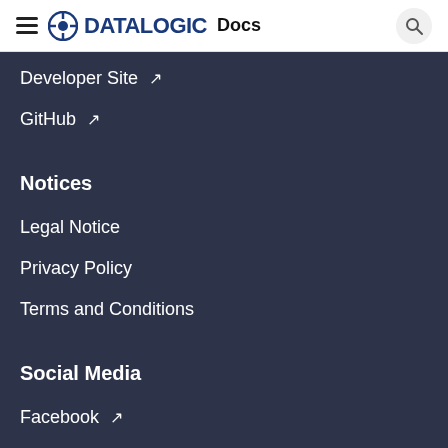Datalogic Docs
Developer Site ↗
GitHub ↗
Notices
Legal Notice
Privacy Policy
Terms and Conditions
Social Media
Facebook ↗
Twitter ↗